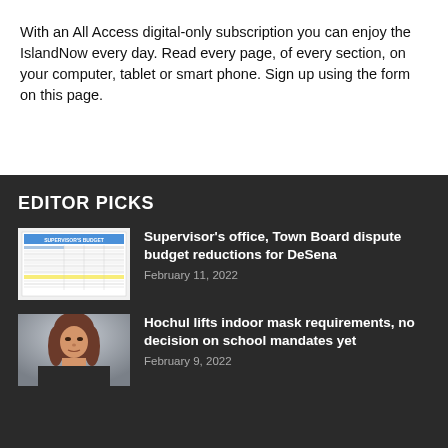With an All Access digital-only subscription you can enjoy the IslandNow every day. Read every page, of every section, on your computer, tablet or smart phone. Sign up using the form on this page.
EDITOR PICKS
[Figure (other): Thumbnail image of Supervisor's Budget document table]
Supervisor's office, Town Board dispute budget reductions for DeSena
February 11, 2022
[Figure (photo): Headshot photo of a woman with brown hair]
Hochul lifts indoor mask requirements, no decision on school mandates yet
February 9, 2022